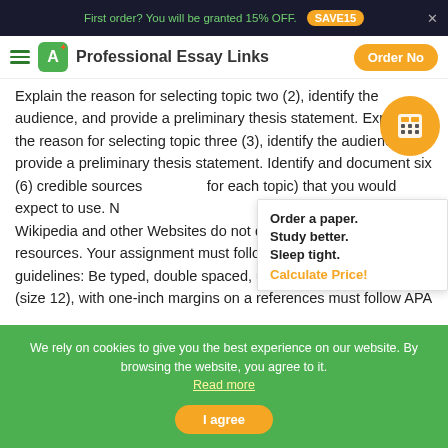First order? You will be granted 15% OFF. SAVE15
[Figure (screenshot): Navigation bar with hamburger menu, green A+ logo, 'Professional Essay Links' site name, and orange 'Order No' button]
Explain the reason for selecting topic two (2), identify the audience, and provide a preliminary thesis statement. Explain the reason for selecting topic three (3), identify the audience, and provide a preliminary thesis statement. Identify and document six (6) credible sources for each topic) that you would expect to use. N Wikipedia and other Websites do not qualify a resources. Your assignment must follow these formatting guidelines: Be typed, double spaced, using Times N Roman font (size 12), with one-inch margins on a references must follow APA or school-specific for
Order a paper. Study better. Sleep tight. Calculate Price!
We rely on cookies to give you the best experience on our website. By browsing the website, you agree to it. Read more
I agree